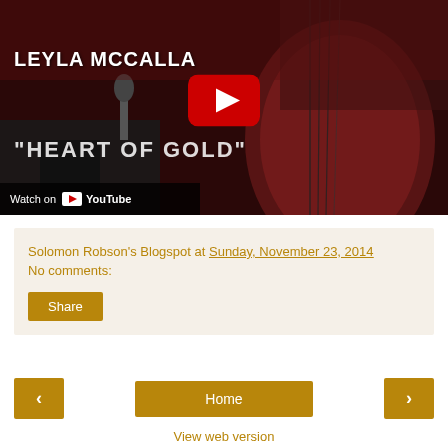[Figure (screenshot): YouTube video thumbnail showing Leyla McCalla playing cello, with text 'LEYLA MCCALLA' and '"HEART OF GOLD"', YouTube play button overlay, and 'Watch on YouTube' bar at bottom]
Solomon Robson's Blogspot at Sunday, November 23, 2014
No comments:
Share
‹
Home
›
View web version